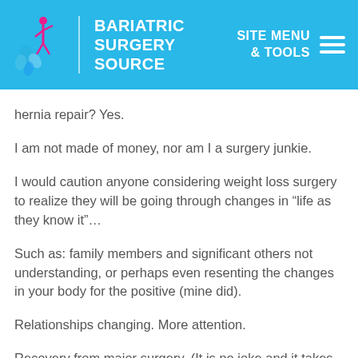BARIATRIC SURGERY SOURCE | SITE MENU & TOOLS
hernia repair? Yes.
I am not made of money, nor am I a surgery junkie.
I would caution anyone considering weight loss surgery to realize they will be going through changes in “life as they know it”…
Such as: family members and significant others not understanding, or perhaps even resenting the changes in your body for the positive (mine did).
Relationships changing. More attention.
Recovery from major surgery. (It is no joke and it takes time to heal physically as well as adjust psychologically. Don’t